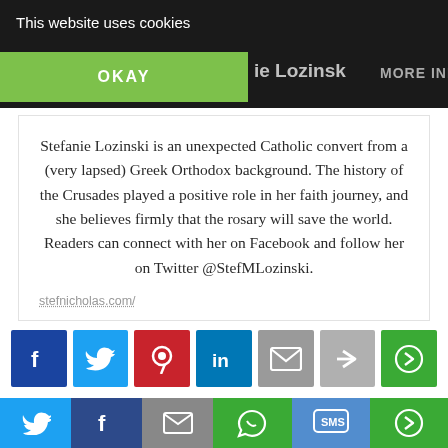This website uses cookies
OKAY
MORE INFO
Stefanie Lozinski is an unexpected Catholic convert from a (very lapsed) Greek Orthodox background. The history of the Crusades played a positive role in her faith journey, and she believes firmly that the rosary will save the world. Readers can connect with her on Facebook and follow her on Twitter @StefMLozinski.
stefnicholas.com/
[Figure (screenshot): Row of social share buttons: Facebook, Twitter, Pinterest, LinkedIn, Email, Share, More Options]
[Figure (screenshot): Bottom share bar with Twitter, Facebook, Email, WhatsApp, SMS, More Options icons]